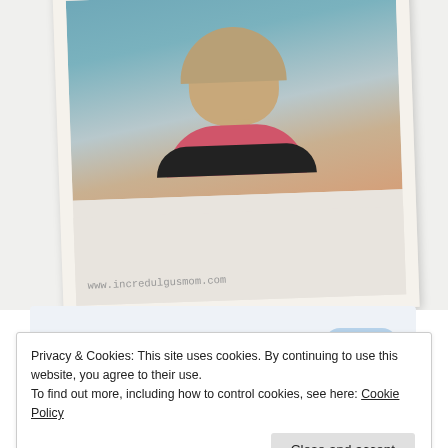[Figure (photo): A polaroid-style photo showing a person (woman with short blonde hair, pink top) against a teal background, with the URL www.incredulgusmom.com written on the white border of the polaroid frame.]
the go.
GET THE APP
[Figure (logo): WordPress logo — blue W in a circle on a light blue rounded square background.]
Privacy & Cookies: This site uses cookies. By continuing to use this website, you agree to their use.
To find out more, including how to control cookies, see here: Cookie Policy
Close and accept